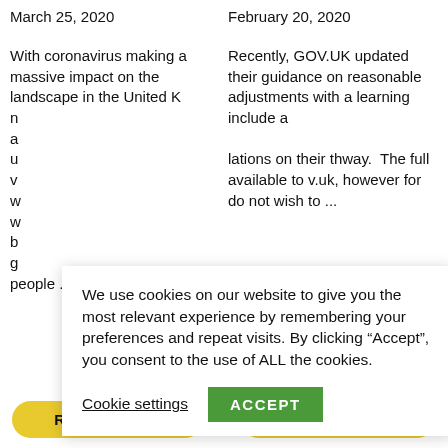March 25, 2020
February 20, 2020
With coronavirus making a massive impact on the landscape in the United K n a u v w w b g people ...
Recently, GOV.UK updated their guidance on reasonable adjustments with a learning include a lations on their thway. The full available to v.uk, however for do not wish to ...
We use cookies on our website to give you the most relevant experience by remembering your preferences and repeat visits. By clicking “Accept”, you consent to the use of ALL the cookies.
Cookie settings
ACCEPT
[Figure (logo): WhatsApp icon circle]
READ MORE »
READ MORE »